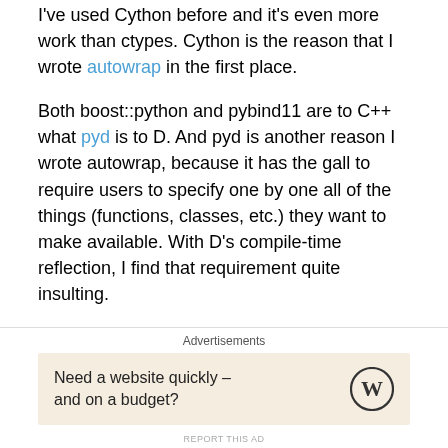I've used Cython before and it's even more work than ctypes. Cython is the reason that I wrote autowrap in the first place.
Both boost::python and pybind11 are to C++ what pyd is to D. And pyd is another reason I wrote autowrap, because it has the gall to require users to specify one by one all of the things (functions, classes, etc.) they want to make available. With D's compile-time reflection, I find that requirement quite insulting.
Last week I presented a way of calling C from Python which I find incredibly easy.  I got told there were viable alternatives, and since I didn't know any better at the time I stroked my beard and thought "iiiinteresting"
Advertisements
[Figure (other): WordPress advertisement banner: 'Need a website quickly – and on a budget?' with WordPress logo]